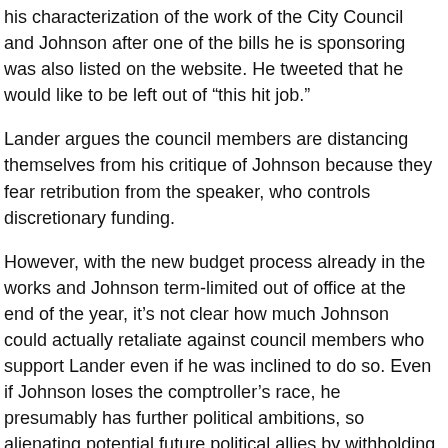his characterization of the work of the City Council and Johnson after one of the bills he is sponsoring was also listed on the website. He tweeted that he would like to be left out of “this hit job.”
Lander argues the council members are distancing themselves from his critique of Johnson because they fear retribution from the speaker, who controls discretionary funding.
However, with the new budget process already in the works and Johnson term-limited out of office at the end of the year, it’s not clear how much Johnson could actually retaliate against council members who support Lander even if he was inclined to do so. Even if Johnson loses the comptroller’s race, he presumably has further political ambitions, so alienating potential future political allies by withholding discretionary funds from their districts when he won’t be able to reap the benefits of that carrot-and-stick approach in the future because he will no longer be the speaker of the City Council doesn’t make a whole lot of sense.
Lander’s colleagues are more than likely calling him out because